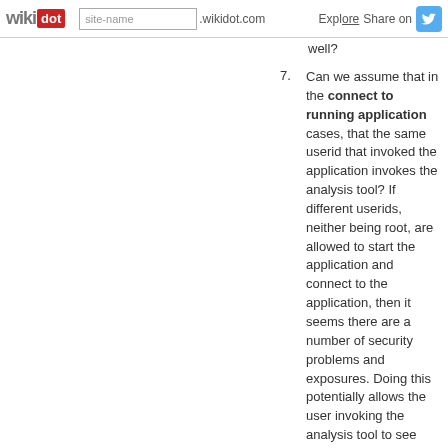wikidot | site-name .wikidot.com | Explore | Share on [Twitter]
well?
7. Can we assume that in the connect to running application cases, that the same userid that invoked the application invokes the analysis tool? If different userids, neither being root, are allowed to start the application and connect to the application, then it seems there are a number of security problems and exposures. Doing this potentially allows the user invoking the analysis tool to see data from the running